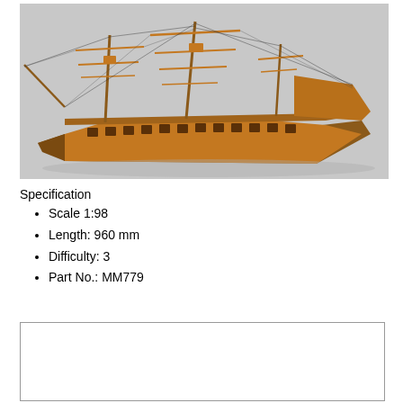[Figure (photo): Wooden scale model of a tall ship / sailing frigate with multiple masts, rigging, and detailed hull, photographed against a grey background.]
Specification
Scale 1:98
Length: 960 mm
Difficulty: 3
Part No.: MM779
[Figure (other): Empty bordered box, likely a placeholder for additional content or image.]